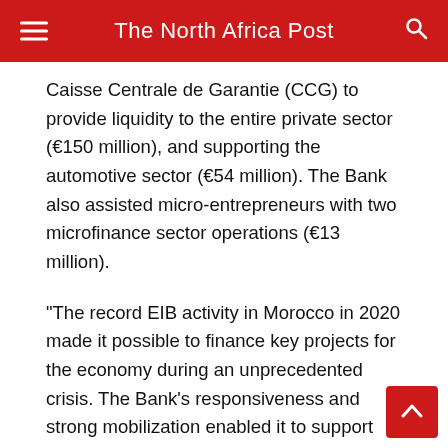The North Africa Post
Caisse Centrale de Garantie (CCG) to provide liquidity to the entire private sector (€150 million), and supporting the automotive sector (€54 million). The Bank also assisted micro-entrepreneurs with two microfinance sector operations (€13 million).
“The record EIB activity in Morocco in 2020 made it possible to finance key projects for the economy during an unprecedented crisis. The Bank’s responsiveness and strong mobilization enabled it to support partners and project promoters, mitigating the impact of the pandemic in the public and private sectors,” said EIB Vice-President Ricardo Mourinho Félix.
The EIB has been Morocco’s key partner for 40 years. The bank funds key projects in vital sectors of the